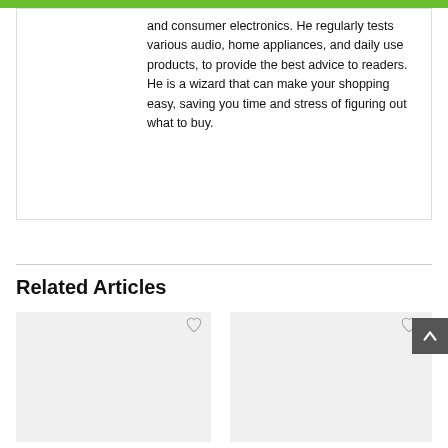and consumer electronics. He regularly tests various audio, home appliances, and daily use products, to provide the best advice to readers. He is a wizard that can make your shopping easy, saving you time and stress of figuring out what to buy.
Related Articles
[Figure (screenshot): Card placeholder image left with heart icon]
[Figure (screenshot): Card placeholder image right with heart icon]
Kbear Little Q Iem Review –
10 Best Earphones Under 500